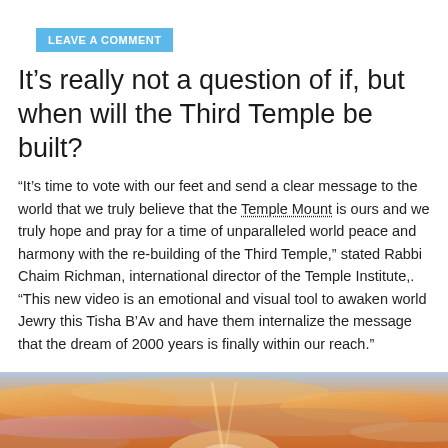LEAVE A COMMENT
It's really not a question of if, but when will the Third Temple be built?
“It’s time to vote with our feet and send a clear message to the world that we truly believe that the Temple Mount is ours and we truly hope and pray for a time of unparalleled world peace and harmony with the re-building of the Third Temple,” stated Rabbi Chaim Richman, international director of the Temple Institute,. “This new video is an emotional and visual tool to awaken world Jewry this Tisha B’Av and have them internalize the message that the dream of 2000 years is finally within our reach.”
[Figure (photo): Sunset sky with orange, yellow, and purple clouds]